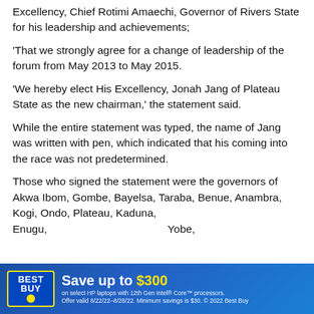Excellency, Chief Rotimi Amaechi, Governor of Rivers State for his leadership and achievements;
'That we strongly agree for a change of leadership of the forum from May 2013 to May 2015.
'We hereby elect His Excellency, Jonah Jang of Plateau State as the new chairman,' the statement said.
While the entire statement was typed, the name of Jang was written with pen, which indicated that his coming into the race was not predetermined.
Those who signed the statement were the governors of Akwa Ibom, Gombe, Bayelsa, Taraba, Benue, Anambra, Kogi, Ondo, Plateau, Kaduna, Enugu, ... Yobe,
[Figure (other): Best Buy advertisement banner: 'Save up to $300 on select HP laptops with 12th Gen Intel Core processors. Offer valid 8/22/22-8/28/22. Minimum savings is $30. © 2022 Best Buy']